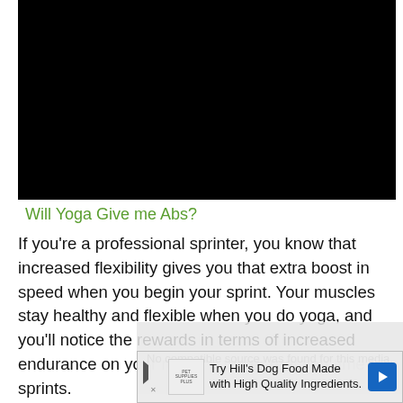[Figure (photo): Black video player area at the top of the page]
Will Yoga Give me Abs?
If you're a professional sprinter, you know that increased flexibility gives you that extra boost in speed when you begin your sprint. Your muscles stay healthy and flexible when you do yoga, and you'll notice the rewards in terms of increased endurance on your run or a faster reaction time for sprints.
[Figure (screenshot): Ad overlay: Try Hill's Dog Food Made with High Quality Ingredients. Pet Supplies Plus logo and blue arrow icon.]